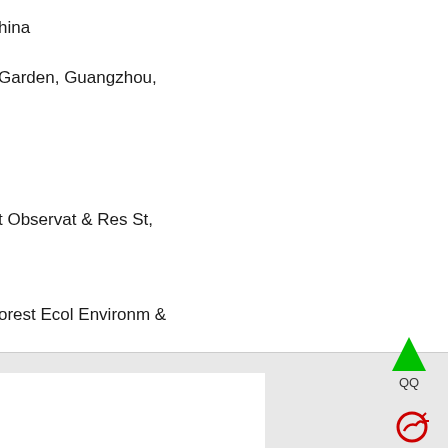hina
Garden, Guangzhou,
t Observat & Res St,
orest Ecol Environm &
hensionality of
orks: Improved Resolution
on". TRENDS IN